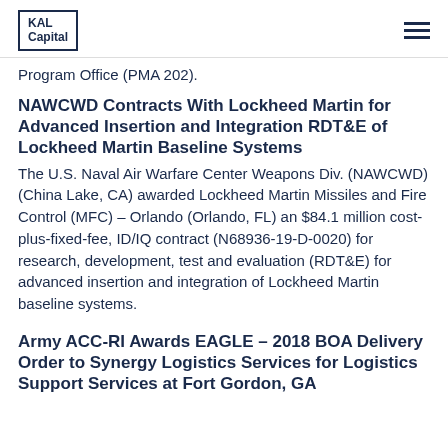KAL Capital
Program Office (PMA 202).
NAWCWD Contracts With Lockheed Martin for Advanced Insertion and Integration RDT&E of Lockheed Martin Baseline Systems
The U.S. Naval Air Warfare Center Weapons Div. (NAWCWD) (China Lake, CA) awarded Lockheed Martin Missiles and Fire Control (MFC) – Orlando (Orlando, FL) an $84.1 million cost-plus-fixed-fee, ID/IQ contract (N68936-19-D-0020) for research, development, test and evaluation (RDT&E) for advanced insertion and integration of Lockheed Martin baseline systems.
Army ACC-RI Awards EAGLE – 2018 BOA Delivery Order to Synergy Logistics Services for Logistics Support Services at Fort Gordon, GA